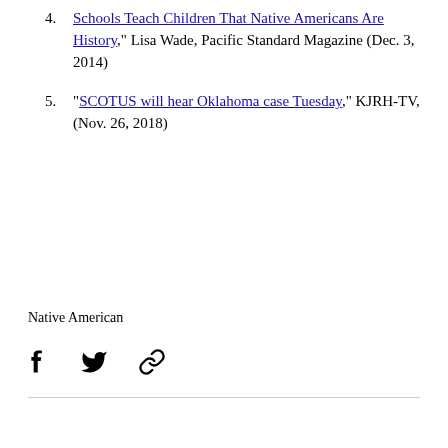4. "Schools Teach Children That Native Americans Are History," Lisa Wade, Pacific Standard Magazine (Dec. 3, 2014)
5. "SCOTUS will hear Oklahoma case Tuesday," KJRH-TV, (Nov. 26, 2018)
Native American
[Figure (infographic): Social sharing icons: Facebook (f), Twitter (bird), and a chain/link icon]